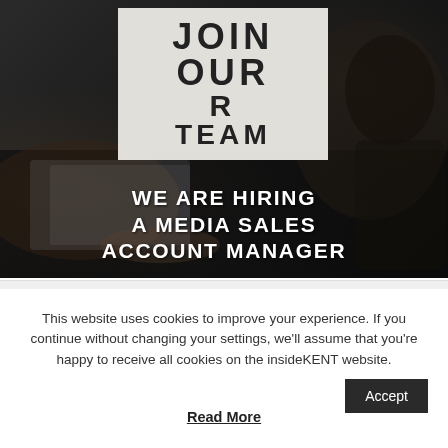[Figure (photo): Dark office/workspace background photo with people at laptops. Overlaid with a white card reading 'JOIN OUR TEAM' in large bold letters, and below it text reading 'WE ARE HIRING A MEDIA SALES ACCOUNT MANAGER' in white bold letters.]
This website uses cookies to improve your experience. If you continue without changing your settings, we'll assume that you're happy to receive all cookies on the insideKENT website.
Accept
Read More